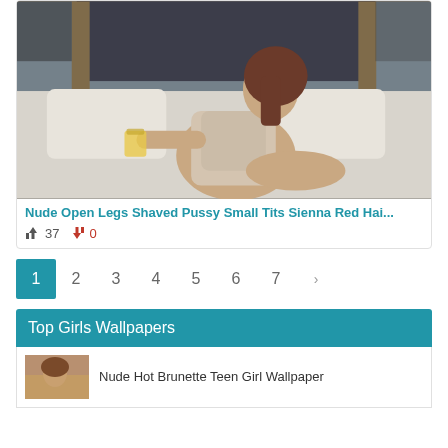[Figure (photo): Woman with auburn hair sitting on a bed wearing a light tank top, holding a drink, viewed from the side]
Nude Open Legs Shaved Pussy Small Tits Sienna Red Hai...
👍 37  👎 0
1 2 3 4 5 6 7 ›
Top Girls Wallpapers
Nude Hot Brunette Teen Girl Wallpaper